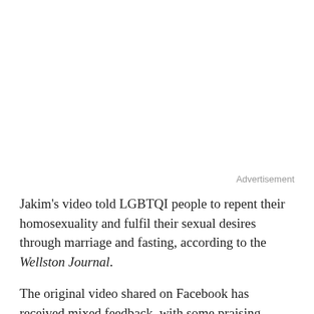Advertisement
Jakim's video told LGBTQI people to repent their homosexuality and fulfil their sexual desires through marriage and fasting, according to the Wellston Journal.
The original video shared on Facebook has received mixed feedback, with some praising Jakim for what they perceived as a relatively positive stance towards LGBT+